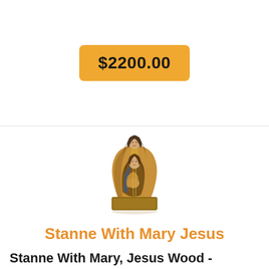$2200.00
[Figure (photo): Wooden antique-style religious figurine group depicting Saint Anne with Mary and Jesus, painted in brown, gold, and dark tones, seated composition]
Stanne With Mary Jesus
Stanne With Mary, Jesus Wood - Antique